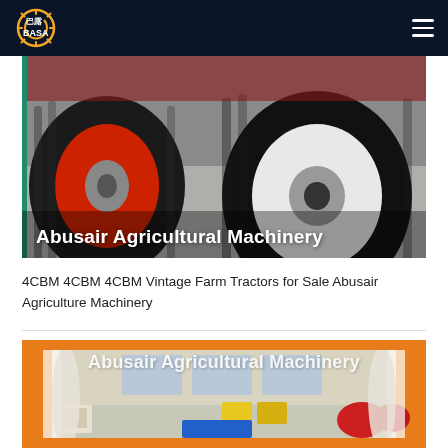BASA - Abusair Agricultural Machinery
[Figure (photo): Close-up photo of tractor rear wheels on concrete floor, red rim on left, white rim on right. Overlay text reads 'Abusair Agricultural Machinery'.]
4CBM 4CBM 4CBM Vintage Farm Tractors for Sale Abusair Agriculture Machinery
[Figure (photo): Photo of an agricultural machinery warehouse interior with orange background and equipment/parts scattered on floor. Overlay text reads 'Abusair Agricultural Machinery'.]